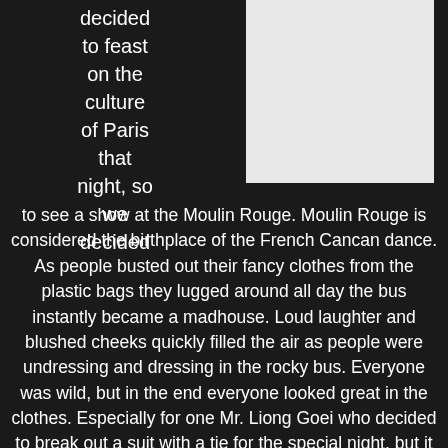decided to feast on the culture of Paris that night, so we decided
[Figure (photo): A light gray rectangular image placeholder in the upper right area of the page]
to see a show at the Moulin Rouge. Moulin Rouge is considered the birthplace of the French Cancan dance. As people busted out their fancy clothes from the plastic bags they lugged around all day the bus instantly became a madhouse. Loud laughter and blushed cheeks quickly filled the air as people were undressing and dressing in the rocky bus. Everyone was wild, but in the end everyone looked great in the clothes. Especially for one Mr. Liong Goei who decided to break out a suit with a tie for the special night, but it wasn't only the guys that decided to kick it up a notch; all the women powdered their faces with makeup